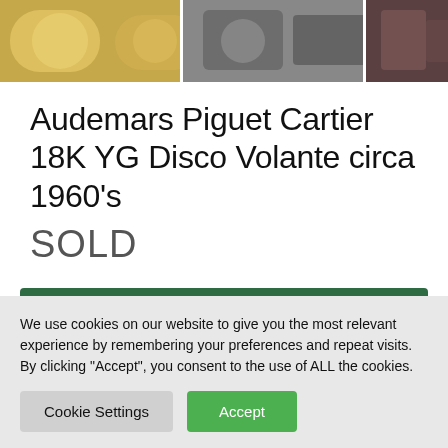[Figure (photo): Three thumbnail images of watches/items at the top of the page]
Audemars Piguet Cartier 18K YG Disco Volante circa 1960's
SOLD
Notify me if a similar watch becomes available
We use cookies on our website to give you the most relevant experience by remembering your preferences and repeat visits. By clicking “Accept”, you consent to the use of ALL the cookies.
Cookie Settings  Accept